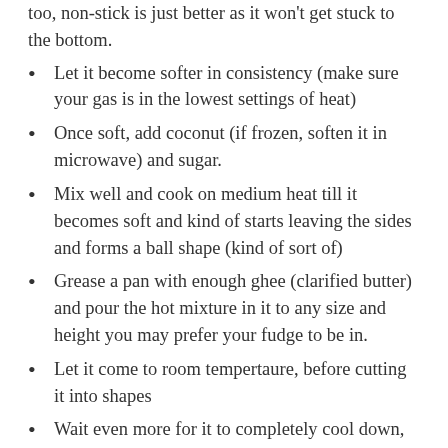too, non-stick is just better as it won't get stuck to the bottom.
Let it become softer in consistency (make sure your gas is in the lowest settings of heat)
Once soft, add coconut (if frozen, soften it in microwave) and sugar.
Mix well and cook on medium heat till it becomes soft and kind of starts leaving the sides and forms a ball shape (kind of sort of)
Grease a pan with enough ghee (clarified butter) and pour the hot mixture in it to any size and height you may prefer your fudge to be in.
Let it come to room tempertaure, before cutting it into shapes
Wait even more for it to completely cool down, before digging into it :)
I felt @ one point, that I could even make them into balls instead of cutting them like barfis
Now, what do I tell of the taste. My husband called it a